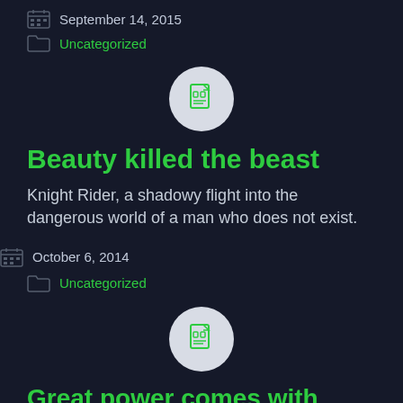September 14, 2015
Uncategorized
[Figure (illustration): Circle icon with document/page icon inside, light gray background]
Beauty killed the beast
Knight Rider, a shadowy flight into the dangerous world of a man who does not exist.
October 6, 2014
Uncategorized
[Figure (illustration): Circle icon with document/page icon inside, light gray background]
Great power comes with great responsibiltiy